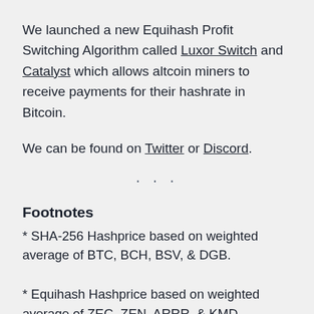We launched a new Equihash Profit Switching Algorithm called Luxor Switch and Catalyst which allows altcoin miners to receive payments for their hashrate in Bitcoin.
We can be found on Twitter or Discord.
· · ·
Footnotes
* SHA-256 Hashprice based on weighted average of BTC, BCH, BSV, & DGB.
* Equihash Hashprice based on weighted average of ZEC, ZEN, ARRR, & KMD.